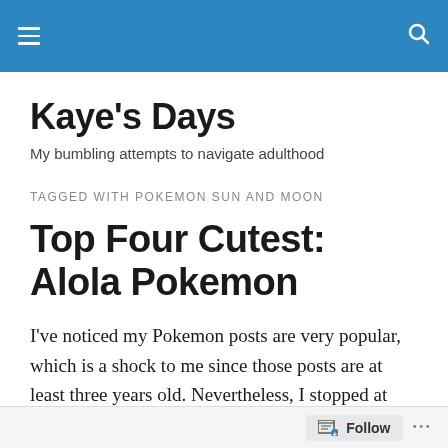Kaye's Days [navigation bar with hamburger menu and search icon]
Kaye's Days
My bumbling attempts to navigate adulthood
TAGGED WITH POKEMON SUN AND MOON
Top Four Cutest: Alola Pokemon
I've noticed my Pokemon posts are very popular, which is a shock to me since those posts are at least three years old. Nevertheless, I stopped at Kalos because Alola, the
Follow ...